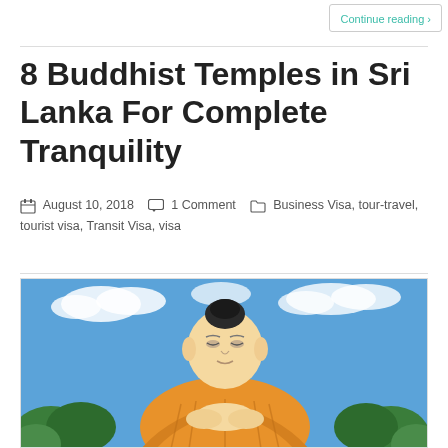Continue reading →
8 Buddhist Temples in Sri Lanka For Complete Tranquility
August 10, 2018   1 Comment   Business Visa, tour-travel, tourist visa, Transit Visa, visa
[Figure (photo): Large golden Buddha statue seated in meditation pose against a blue sky with clouds, with green trees visible at the base]